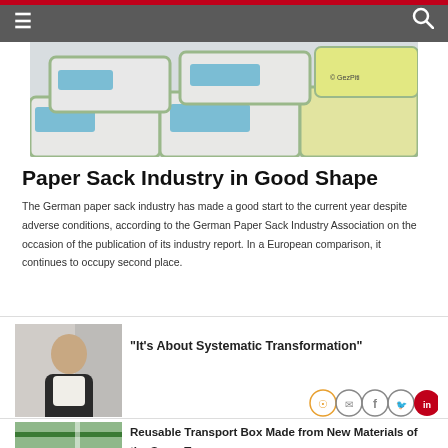Navigation bar with hamburger menu and search icon
[Figure (photo): Stacked paper sacks in white, blue, green and yellow colors, with branding]
Paper Sack Industry in Good Shape
The German paper sack industry has made a good start to the current year despite adverse conditions, according to the German Paper Sack Industry Association on the occasion of the publication of its industry report. In a European comparison, it continues to occupy second place.
[Figure (photo): Portrait of a man in a dark suit smiling]
“It’s About Systematic Transformation”
[Figure (photo): Close-up of a green and white reusable transport box]
Reusable Transport Box Made from New Materials of the Same Type